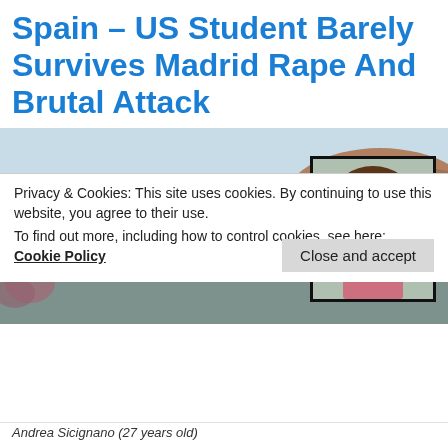Spain – US Student Barely Survives Madrid Rape And Brutal Attack
[Figure (photo): Main photo of a young woman smiling against a backdrop of white Mediterranean buildings on cliffs (Santorini-style). An inset photo in the upper right shows the same woman with visible facial injuries.]
Privacy & Cookies: This site uses cookies. By continuing to use this website, you agree to their use.
To find out more, including how to control cookies, see here: Cookie Policy
Andrea Sicignano (27 years old)